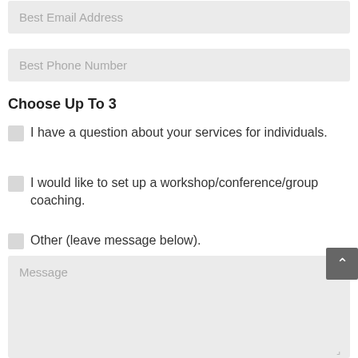Best Email Address
Best Phone Number
Choose Up To 3
I have a question about your services for individuals.
I would like to set up a workshop/conference/group coaching.
Other (leave message below).
Message